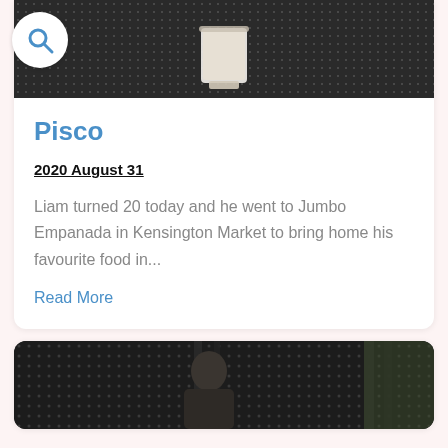[Figure (photo): Top portion of a blog post card showing a white drink/glass on a dark dotted background]
Pisco
2020 August 31
Liam turned 20 today and he went to Jumbo Empanada in Kensington Market to bring home his favourite food in...
Read More
[Figure (photo): Bottom card showing a person with long hair standing in front of a dark lattice/pergola structure outdoors]